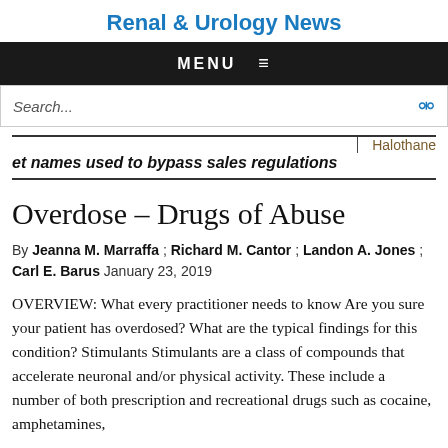Renal & Urology News
[Figure (screenshot): Navigation bar with MENU label and hamburger icon on dark background]
[Figure (screenshot): Search bar with placeholder text 'Search...' and search icon]
|  | Halothane |
| --- | --- |
| et names used to bypass sales regulations |  |
Overdose – Drugs of Abuse
By Jeanna M. Marraffa ; Richard M. Cantor ; Landon A. Jones ; Carl E. Barus January 23, 2019
OVERVIEW: What every practitioner needs to know Are you sure your patient has overdosed? What are the typical findings for this condition? Stimulants Stimulants are a class of compounds that accelerate neuronal and/or physical activity. These include a number of both prescription and recreational drugs such as cocaine, amphetamines,